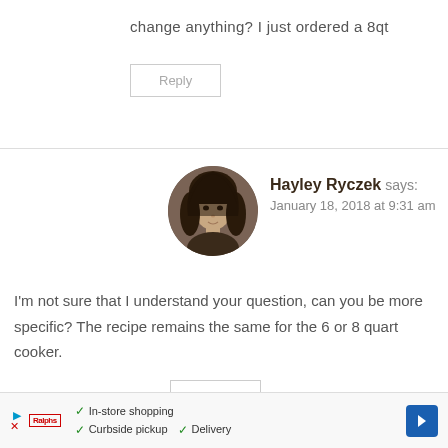change anything? I just ordered a 8qt
Reply
Hayley Ryczek says: January 18, 2018 at 9:31 am
[Figure (photo): Circular avatar photo of a young woman with long dark curly hair]
I'm not sure that I understand your question, can you be more specific? The recipe remains the same for the 6 or 8 quart cooker.
Reply
In-store shopping  Curbside pickup  Delivery